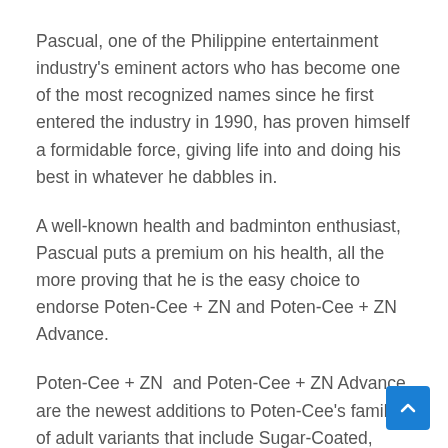Pascual, one of the Philippine entertainment industry's eminent actors who has become one of the most recognized names since he first entered the industry in 1990, has proven himself a formidable force, giving life into and doing his best in whatever he dabbles in.
A well-known health and badminton enthusiast, Pascual puts a premium on his health, all the more proving that he is the easy choice to endorse Poten-Cee + ZN and Poten-Cee + ZN Advance.
Poten-Cee + ZN  and Poten-Cee + ZN Advance are the newest additions to Poten-Cee's family of adult variants that include Sugar-Coated, Sugar-Free, Forte, Non-Acidic, and Chewable. Poten-Cee + ZN helps augment our body's defenses through the addition of Zinc, while Poten-Cee + ZN Advance not only contains Zinc but is fortified with Vitamin D3 to further enhance our immune